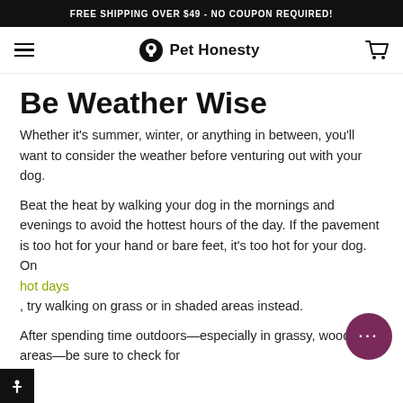FREE SHIPPING OVER $49 - NO COUPON REQUIRED!
[Figure (logo): Pet Honesty logo with hamburger menu and cart icon navigation bar]
Be Weather Wise
Whether it's summer, winter, or anything in between, you'll want to consider the weather before venturing out with your dog.
Beat the heat by walking your dog in the mornings and evenings to avoid the hottest hours of the day. If the pavement is too hot for your hand or bare feet, it's too hot for your dog. On hot days, try walking on grass or in shaded areas instead.
After spending time outdoors—especially in grassy, wooded areas—be sure to check for